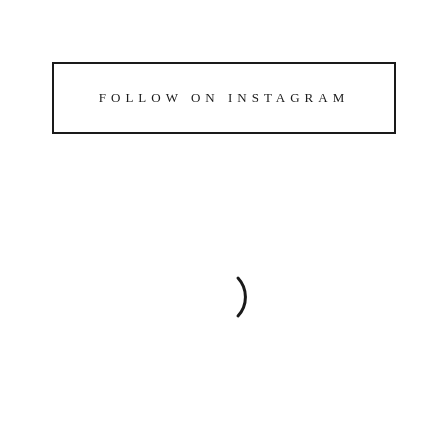FOLLOW ON INSTAGRAM
[Figure (other): A loading spinner arc (partial circle), rendered as a thin black curved arc, approximately half-circle, centered in the lower half of the page.]